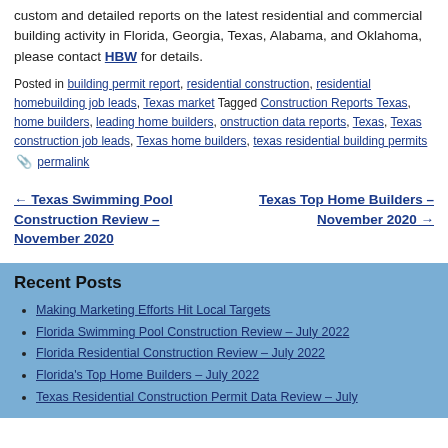custom and detailed reports on the latest residential and commercial building activity in Florida, Georgia, Texas, Alabama, and Oklahoma, please contact HBW for details.
Posted in building permit report, residential construction, residential homebuilding job leads, Texas market Tagged Construction Reports Texas, home builders, leading home builders, onstruction data reports, Texas, Texas construction job leads, Texas home builders, texas residential building permits 📎 permalink
← Texas Swimming Pool Construction Review – November 2020
Texas Top Home Builders – November 2020 →
Recent Posts
Making Marketing Efforts Hit Local Targets
Florida Swimming Pool Construction Review – July 2022
Florida Residential Construction Review – July 2022
Florida's Top Home Builders – July 2022
Texas Residential Construction Permit Data Review – July